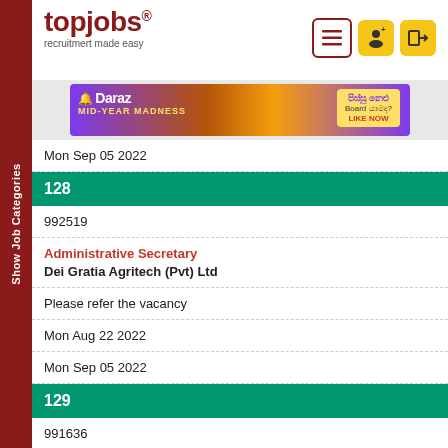[Figure (logo): topjobs logo with tagline 'recruitmert made easy']
[Figure (photo): Daraz MID-YEAR MADNESS advertisement banner]
Mon Sep 05 2022
128
992519
Administrative Secretary
Dei Gratia Agritech (Pvt) Ltd
Please refer the vacancy
Mon Aug 22 2022
Mon Sep 05 2022
129
991636
Show Job Categories